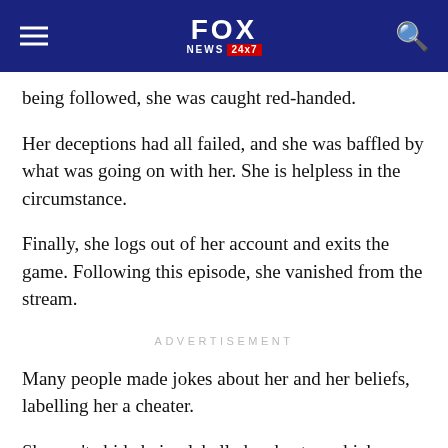FOX NEWS 24x7
being followed, she was caught red-handed.
Her deceptions had all failed, and she was baffled by what was going on with her. She is helpless in the circumstance.
Finally, she logs out of her account and exits the game. Following this episode, she vanished from the stream.
ADVERTISEMENT
Many people made jokes about her and her beliefs, labelling her a cheater.
She can't abide being labelled a cheater, which may explain why she's been grounded.